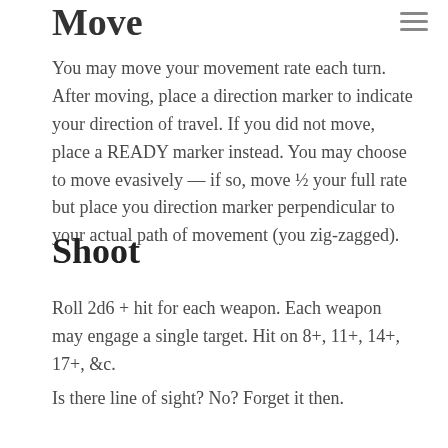Move
You may move your movement rate each turn. After moving, place a direction marker to indicate your direction of travel. If you did not move, place a READY marker instead. You may choose to move evasively — if so, move ½ your full rate but place you direction marker perpendicular to your actual path of movement (you zig-zagged).
Shoot
Roll 2d6 + hit for each weapon. Each weapon may engage a single target. Hit on 8+, 11+, 14+, 17+, &c.
Is there line of sight? No? Forget it then.